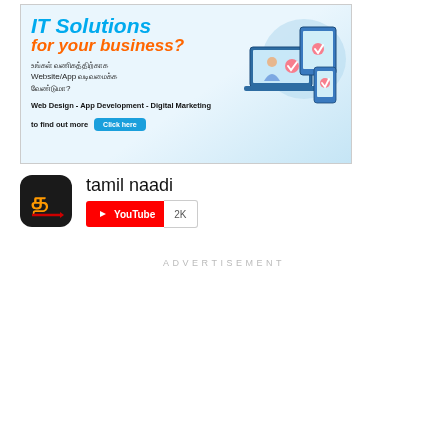[Figure (illustration): IT Solutions advertisement banner with colorful text 'IT Solutions for your business?', Tamil text, services list (Web Design - App Development - Digital Marketing), 'to find out more Click here' button, and device illustrations (laptop, tablet, phone) on light blue background, bordered box]
[Figure (logo): Tamil naadi YouTube channel icon - black rounded square with orange Tamil letter 'thu' glyph and red cursor/line, with channel name 'tamil naadi' and YouTube subscriber badge showing 2K]
ADVERTISEMENT